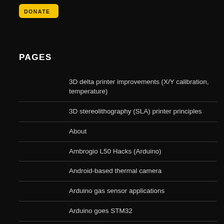[Figure (logo): Yellow rounded rectangle logo with dark text reading 'donate' or similar label]
PAGES
3D delta printer improvements (X/Y calibration, temperature)
3D stereolithography (SLA) printer principles
About
Ambrogio L50 Hacks (Arduino)
Android-based thermal camera
Arduino gas sensor applications
Arduino goes STM32
ArduMag – MEMS magnetometer calibration made easy